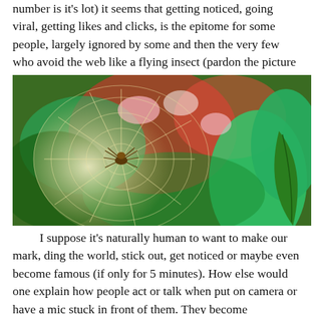number is it's lot) it seems that getting noticed, going viral, getting likes and clicks, is the epitome for some people, largely ignored by some and then the very few who avoid the web like a flying insect (pardon the picture pun)
[Figure (photo): Close-up photograph of a spider sitting in the center of a web, with blurred colorful foliage (red flowers, green leaves) in the background.]
I suppose it's naturally human to want to make our mark, ding the world, stick out, get noticed or maybe even become famous (if only for 5 minutes). How else would one explain how people act or talk when put on camera or have a mic stuck in front of them. They become “somebody” even if they have no clue what they are doing